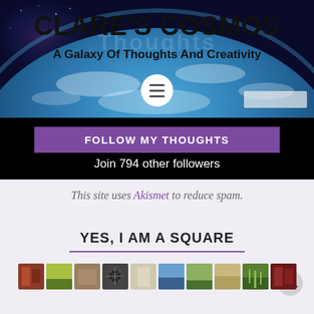[Figure (screenshot): Hero banner with space/earth background image showing Clare's Cosmos blog header]
CLARE'S COSMOS
A Galaxy Of Thoughts And Creativity
[Figure (other): Hamburger menu button (white circle with three horizontal lines)]
FOLLOW MY THOUGHTS
Join 794 other followers
This site uses Akismet to reduce spam.
YES, I AM A SQUARE
[Figure (photo): Strip of small thumbnail images at the bottom of the page]